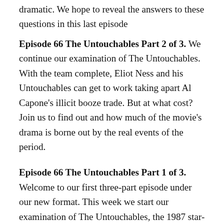dramatic. We hope to reveal the answers to these questions in this last episode
Episode 66 The Untouchables Part 2 of 3. We continue our examination of The Untouchables. With the team complete, Eliot Ness and his Untouchables can get to work taking apart Al Capone's illicit booze trade. But at what cost? Join us to find out and how much of the movie's drama is borne out by the real events of the period.
Episode 66 The Untouchables Part 1 of 3. Welcome to our first three-part episode under our new format. This week we start our examination of The Untouchables, the 1987 star-studded story of Eliot Ness and his Untouchables, taking on Al Capone and the